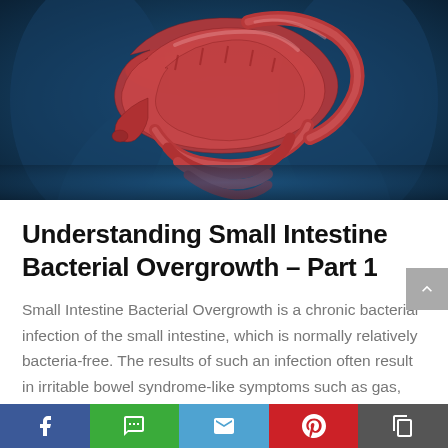[Figure (illustration): Medical illustration of the human small intestine and digestive system in pink/red tones against a dark blue background, showing coiled intestines]
Understanding Small Intestine Bacterial Overgrowth – Part 1
Small Intestine Bacterial Overgrowth is a chronic bacterial infection of the small intestine, which is normally relatively bacteria-free. The results of such an infection often result in irritable bowel syndrome-like symptoms such as gas, bloating, constipation, diarrhea, and heartburn.